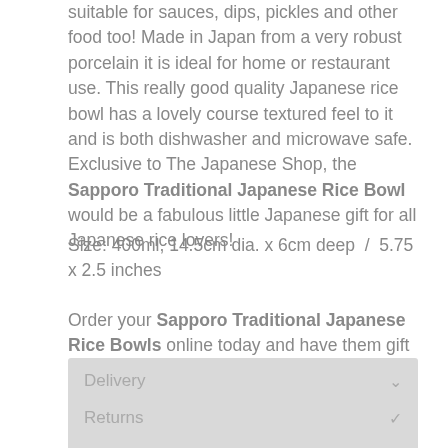suitable for sauces, dips, pickles and other food too! Made in Japan from a very robust porcelain it is ideal for home or restaurant use. This really good quality Japanese rice bowl has a lovely course textured feel to it and is both dishwasher and microwave safe. Exclusive to The Japanese Shop, the Sapporo Traditional Japanese Rice Bowl would be a fabulous little Japanese gift for all Japanese rice lovers!
Size: 400ml, 14.5cm dia. x 6cm deep / 5.75 x 2.5 inches
Order your Sapporo Traditional Japanese Rice Bowls online today and have them gift wrapped free of charge!
Delivery
Returns
Gift Wrapping